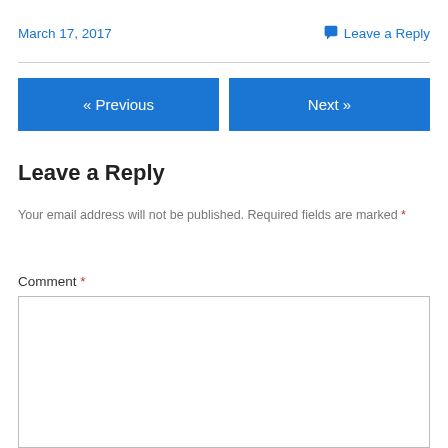March 17, 2017
💬 Leave a Reply
« Previous
Next »
Leave a Reply
Your email address will not be published. Required fields are marked *
Comment *